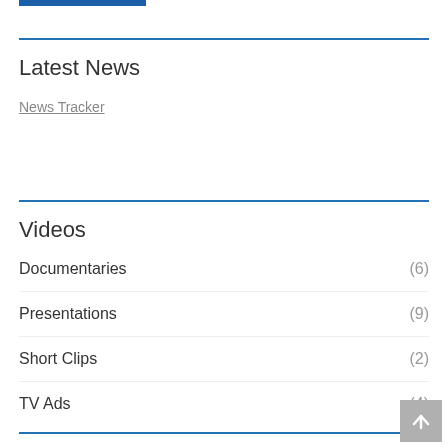Latest News
News Tracker
Videos
Documentaries (6)
Presentations (9)
Short Clips (2)
TV Ads (4)